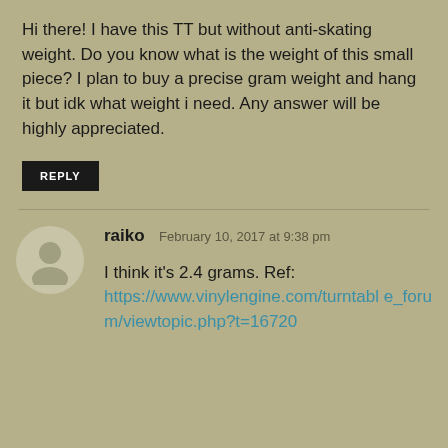Hi there! I have this TT but without anti-skating weight. Do you know what is the weight of this small piece? I plan to buy a precise gram weight and hang it but idk what weight i need. Any answer will be highly appreciated.
REPLY
raiko  February 10, 2017 at 9:38 pm
I think it's 2.4 grams. Ref: https://www.vinylengine.com/turntable_forum/viewtopic.php?t=16720